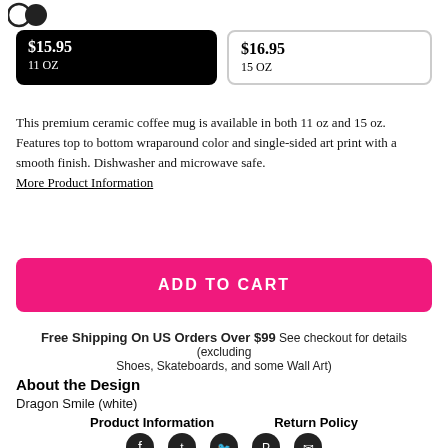[Figure (illustration): Two overlapping circle icons at top left]
$15.95
11 OZ (selected, black background)
$16.95
15 OZ
This premium ceramic coffee mug is available in both 11 oz and 15 oz. Features top to bottom wraparound color and single-sided art print with a smooth finish. Dishwasher and microwave safe.
More Product Information
ADD TO CART
Free Shipping On US Orders Over $99 See checkout for details (excluding Shoes, Skateboards, and some Wall Art)
About the Design
Dragon Smile (white)
Product Information
Return Policy
[Figure (illustration): Social media icons: Facebook, Tumblr, Twitter, Pinterest, Email]